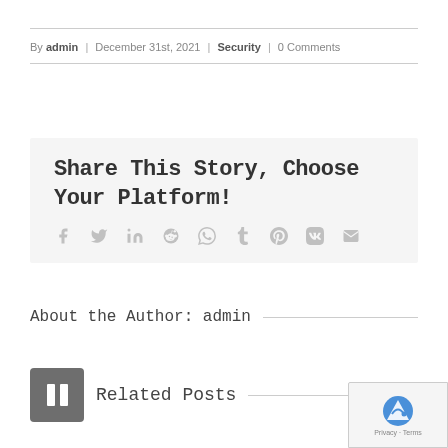By admin | December 31st, 2021 | Security | 0 Comments
Share This Story, Choose Your Platform!
[Figure (infographic): Social media sharing icons: Facebook, Twitter, LinkedIn, Reddit, WhatsApp, Tumblr, Pinterest, VK, Email]
About the Author: admin
[Figure (infographic): Pause icon button (dark gray square with two white vertical bars)]
Related Posts